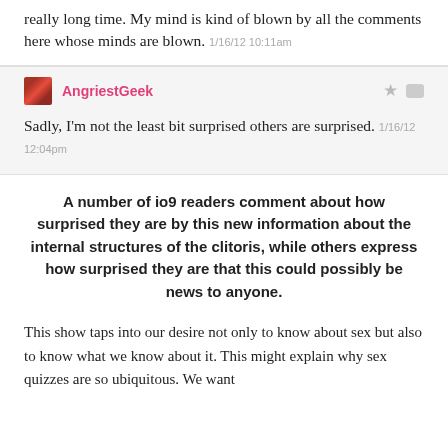really long time. My mind is kind of blown by all the comments here whose minds are blown. 1/16/12 10:11am
AngriestGeek
Sadly, I'm not the least bit surprised others are surprised. 1/16/12 12:04pm
A number of io9 readers comment about how surprised they are by this new information about the internal structures of the clitoris, while others express how surprised they are that this could possibly be news to anyone.
This show taps into our desire not only to know about sex but also to know what we know about it. This might explain why sex quizzes are so ubiquitous. We want